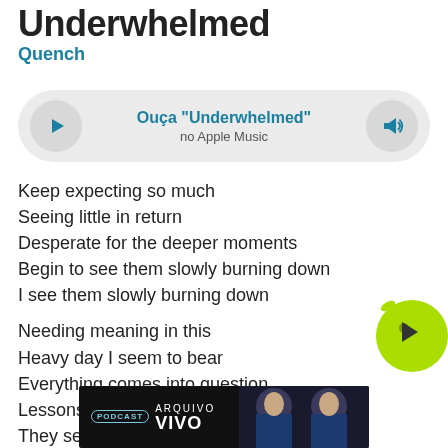Underwhelmed
Quench
[Figure (other): Apple Music player widget with play button, track title 'Ouça "Underwhelmed"' and subtitle 'no Apple Music', and volume button]
Keep expecting so much
Seeing little in return
Desperate for the deeper moments
Begin to see them slowly burning down
I see them slowly burning down
Needing meaning in this
Heavy day I seem to bear
Everything comes into question
Lessons learned just seem to tear apart
They seem to tear apart
And I a
Wanting more than you are giving
[Figure (other): Green circular play button overlay in bottom right]
[Figure (other): Advertisement banner: ARQUIVO VIVO PODCAST with two men in suits]